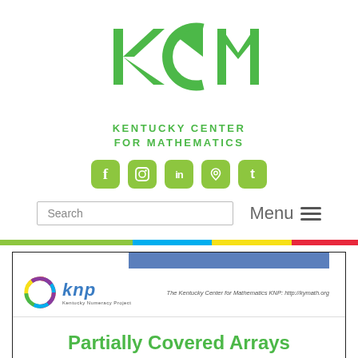[Figure (logo): KCM Kentucky Center for Mathematics logo in green]
[Figure (logo): Social media icons: Facebook, Instagram, LinkedIn, Pinterest, Twitter in green rounded squares]
[Figure (screenshot): Search box and Menu hamburger button navigation element]
[Figure (logo): KNP Kentucky Numeracy Project logo with colorful spiral]
Partially Covered Arrays